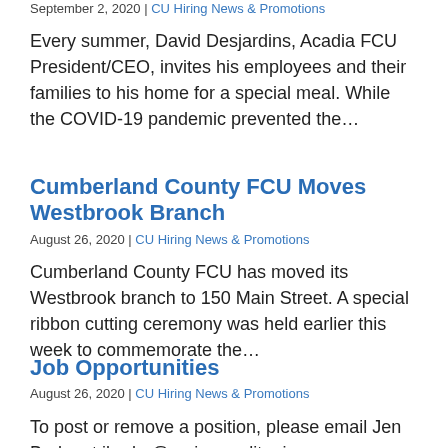September 2, 2020 | CU Hiring News & Promotions
Every summer, David Desjardins, Acadia FCU President/CEO, invites his employees and their families to his home for a special meal. While the COVID-19 pandemic prevented the…
Cumberland County FCU Moves Westbrook Branch
August 26, 2020 | CU Hiring News & Promotions
Cumberland County FCU has moved its Westbrook branch to 150 Main Street. A special ribbon cutting ceremony was held earlier this week to commemorate the…
Job Opportunities
August 26, 2020 | CU Hiring News & Promotions
To post or remove a position, please email Jen Burke at jburke@mainecreditunions. Commercial Credit…